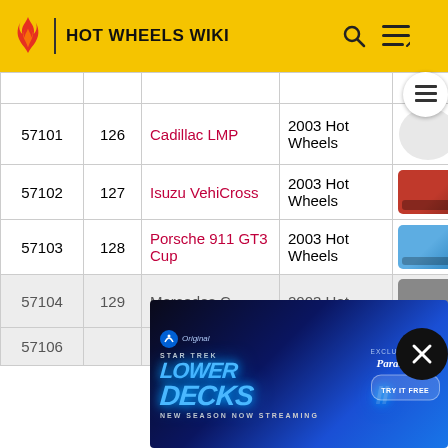HOT WHEELS WIKI
|  |  |  |  |  |
| --- | --- | --- | --- | --- |
| 57101 | 126 | Cadillac LMP | 2003 Hot Wheels | [image] |
| 57102 | 127 | Isuzu VehiCross | 2003 Hot Wheels | [image] |
| 57103 | 128 | Porsche 911 GT3 Cup | 2003 Hot Wheels | [image] |
| 57104 | 129 | Mercedes C- | 2003 Hot | [image] |
| 57106 |  |  |  |  |
[Figure (screenshot): Star Trek Lower Decks Paramount+ advertisement banner: 'NEW SEASON NOW STREAMING, EXCLUSIVELY ON Paramount+, TRY IT FREE']